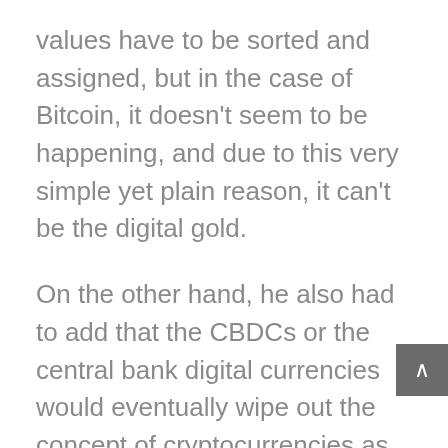values have to be sorted and assigned, but in the case of Bitcoin, it doesn't seem to be happening, and due to this very simple yet plain reason, it can't be the digital gold.
On the other hand, he also had to add that the CBDCs or the central bank digital currencies would eventually wipe out the concept of cryptocurrencies as these serve the same as a digital currency would have, having assigned the value and amount of the fiat money existing in a digital form. But that doesn't chip in the decentralization of things at all, the very reason why the cryptocurrency is active and kicking these days.